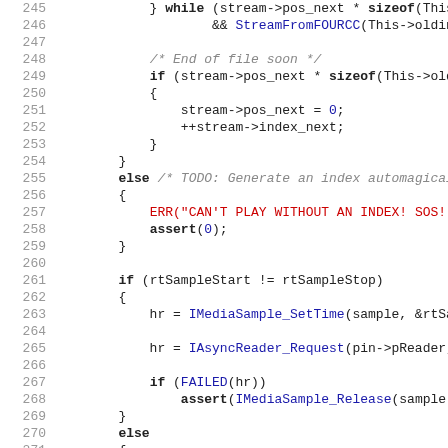[Figure (screenshot): Source code listing in C, lines 245-277, showing AVI stream playback logic with ERR/assert calls, IMediaSample and IAsyncReader function calls. Uses syntax highlighting: keywords in bold black, function names/variables in blue, string literals in red, comments in grey italic, numeric literals in blue.]